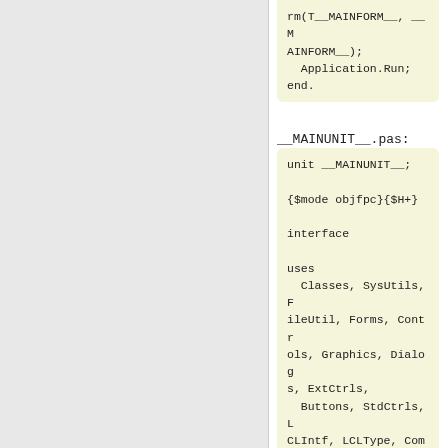rm(T__MAINFORM__, __MAINFORM__);
  Application.Run;
end.
__MAINUNIT__.pas:
unit __MAINUNIT__;

{$mode objfpc}{$H+}

interface

uses
  Classes, SysUtils, FileUtil, Forms, Controls, Graphics, Dialogs, ExtCtrls,
  Buttons, StdCtrls, LCLIntf, LCLType, ComCtrls;